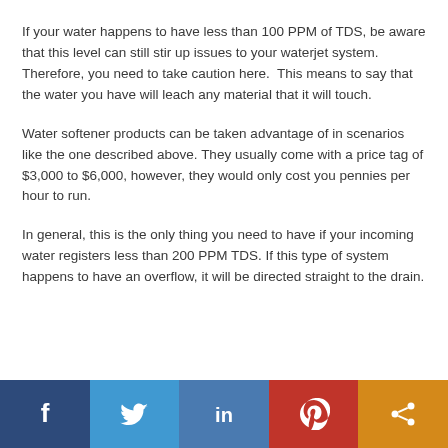If your water happens to have less than 100 PPM of TDS, be aware that this level can still stir up issues to your waterjet system. Therefore, you need to take caution here.  This means to say that the water you have will leach any material that it will touch.
Water softener products can be taken advantage of in scenarios like the one described above. They usually come with a price tag of $3,000 to $6,000, however, they would only cost you pennies per hour to run.
In general, this is the only thing you need to have if your incoming water registers less than 200 PPM TDS. If this type of system happens to have an overflow, it will be directed straight to the drain.
[Figure (infographic): Social sharing bar with five buttons: Facebook (dark blue), Twitter (light blue), LinkedIn (medium blue), Pinterest (red), Share/other (orange). Each shows the respective icon in white.]